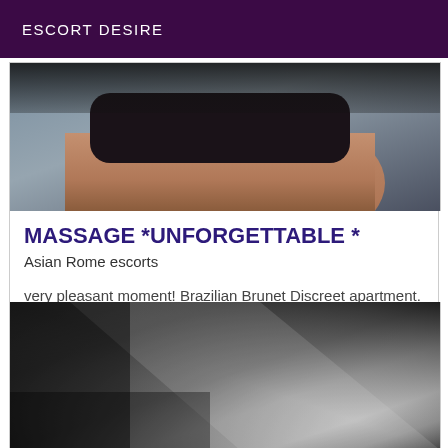ESCORT DESIRE
[Figure (photo): Cropped photo of a person in black underwear against a blue-grey background, showing torso and lower body]
MASSAGE *UNFORGETTABLE *
Asian Rome escorts
very pleasant moment! Brazilian Brunet Discreet apartment. Call me to come back Kisses. ..kisses
[Figure (photo): Black and white close-up photo, abstract dark and light tones suggesting body or fabric]